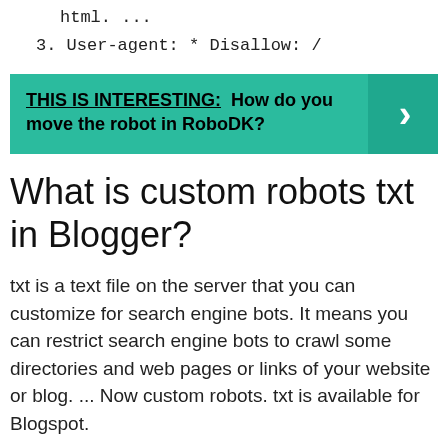html. ...
3. User-agent: * Disallow: /
[Figure (infographic): Teal banner with bold text: THIS IS INTERESTING: How do you move the robot in RoboDK? with a right-arrow chevron on the right side.]
What is custom robots txt in Blogger?
txt is a text file on the server that you can customize for search engine bots. It means you can restrict search engine bots to crawl some directories and web pages or links of your website or blog. ... Now custom robots. txt is available for Blogspot.
How do I create a robots txt